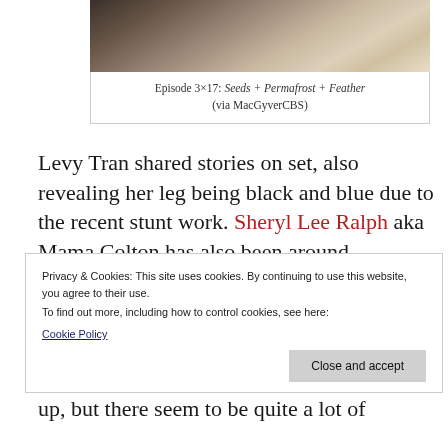[Figure (photo): Photo from TV show episode, showing a person in a bed scene with light-colored bedding]
Episode 3×17: Seeds + Permafrost + Feather (via MacGyverCBS)
Levy Tran shared stories on set, also revealing her leg being black and blue due to the recent stunt work. Sheryl Lee Ralph aka Mama Colton has also been around yesterday. Lance Gross filmed a scene wearing a sharp suit. Instagram
Privacy & Cookies: This site uses cookies. By continuing to use this website, you agree to their use.
To find out more, including how to control cookies, see here:
Cookie Policy
up, but there seem to be quite a lot of